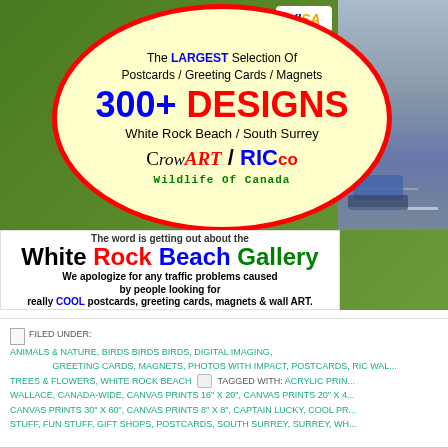[Figure (photo): Green background with large yellow oval with red border containing promotional text about White Rock Beach Gallery postcards, greeting cards, magnets. 300+ designs. CrowART / RICco Wildlife Of Canada branding. Street photo visible on right side. White banner below with White Rock Beach Gallery text.]
FILED UNDER: ANIMALS & NATURE, BIRDS BIRDS BIRDS, DIGITAL IMAGING, GREETING CARDS, MAGNETS, PHOTOS WITH IMPACT, POSTCARDS, RIC WALLACE, TREES & FLOWERS, WHITE ROCK BEACH TAGGED WITH: ACRYLIC PRINTS RIC WALLACE, CANADA-WIDE, CANVAS PRINTS 16" X 20", CANVAS PRINTS 20" X 40", CANVAS PRINTS 30" X 60", CANVAS PRINTS 8" X 8", CAPTAIN LUCKY, COOL PRINTS, COOL STUFF, FUN STUFF, GIFT SHOPS, POSTCARDS, SOUTH SURREY, SURREY, WHITE ROCK